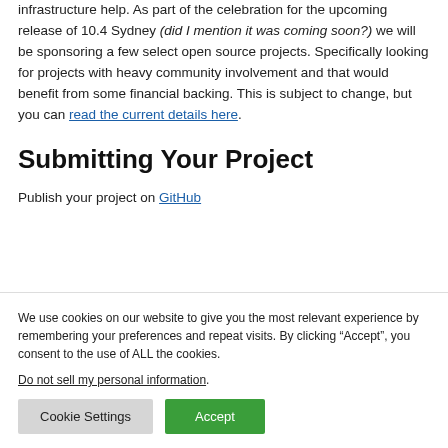infrastructure help. As part of the celebration for the upcoming release of 10.4 Sydney (did I mention it was coming soon?) we will be sponsoring a few select open source projects. Specifically looking for projects with heavy community involvement and that would benefit from some financial backing. This is subject to change, but you can read the current details here.
Submitting Your Project
Publish your project on GitHub
We use cookies on our website to give you the most relevant experience by remembering your preferences and repeat visits. By clicking "Accept", you consent to the use of ALL the cookies.
Do not sell my personal information.